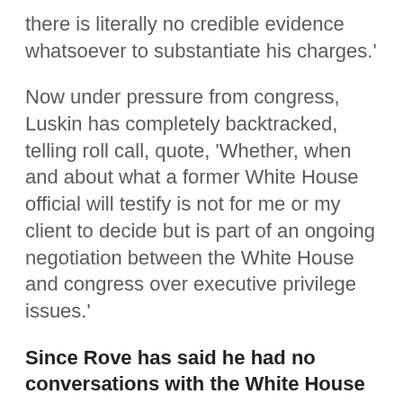there is literally no credible evidence whatsoever to substantiate his charges.'
Now under pressure from congress, Luskin has completely backtracked, telling roll call, quote, 'Whether, when and about what a former White House official will testify is not for me or my client to decide but is part of an ongoing negotiation between the White House and congress over executive privilege issues.'
Since Rove has said he had no conversations with the White House about it, what is the executive privilege here? Rove also sent me an angry five-page letter yesterday suggesting all sorts of questions he thinks I could have and should have asked